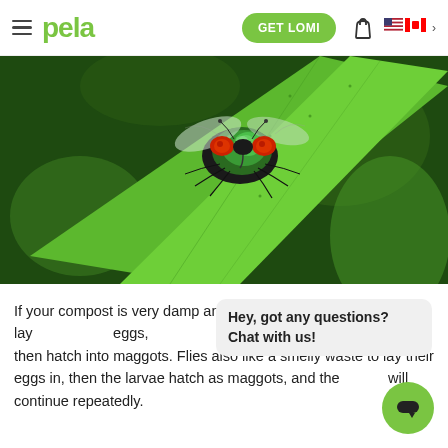pela — GET LOMI [navigation bar with hamburger menu, bag icon, US/CA flag selector]
[Figure (photo): Close-up macro photograph of a metallic green bottle fly with red compound eyes perched on a bright green leaf stem, with blurred green foliage in the background.]
If your compost is very damp and fruit scraps, then . Flies lay eggs, then hatch into maggots. Flies also like a smelly waste to lay their eggs in, then the larvae hatch as maggots, and the cycle will continue repeatedly.
Hey, got any questions? Chat with us!